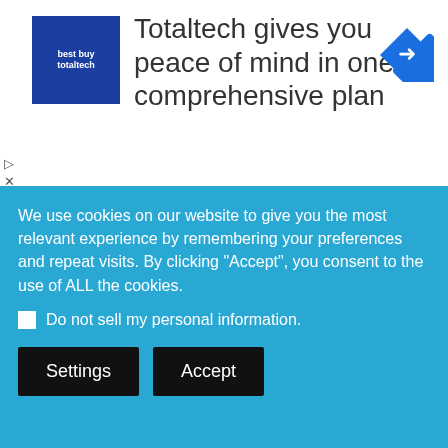[Figure (screenshot): Totaltech advertisement banner with blue square logo and navigation arrow icon. Text reads: Totaltech gives you peace of mind in one comprehensive plan]
Back to our Company website: The Chandler LDC, LLC
[Figure (screenshot): Search bar with microphone icon and blue search button]
We use cookies on our website to give you the most relevant experience by remembering your preferences and repeat visits. By clicking "Accept", you consent to the use of ALL the cookies.
Do not sell my personal information.
Settings
Accept